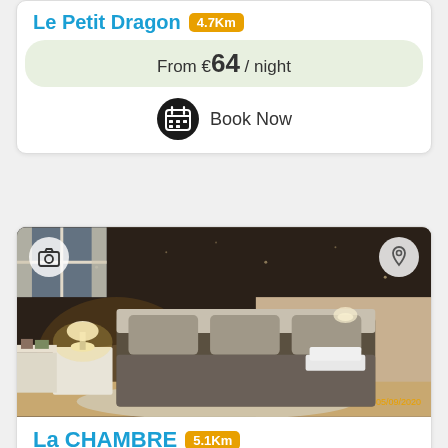Le Petit Dragon 4.7Km
From €64 / night
Book Now
[Figure (photo): Attic bedroom with dark ceiling, double bed with grey bedding, white nightstand with lamp, wooden floor, fluffy rug. Timestamp: 05/09/2020.]
La CHAMBRE 5.1Km
From €62 / night
Book Now